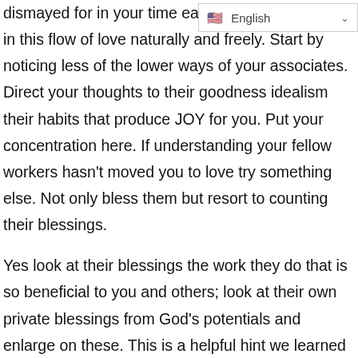[Figure (other): Language selector dropdown showing US flag and 'English' label with a down arrow chevron]
dismayed for in your time each wi[ll participat]e in this flow of love naturally and freely. Start by noticing less of the lower ways of your associates. Direct your thoughts to their goodness idealism their habits that produce JOY for you. Put your concentration here. If understanding your fellow workers hasn't moved you to love try something else. Not only bless them but resort to counting their blessings.
Yes look at their blessings the work they do that is so beneficial to you and others; look at their own private blessings from God's potentials and enlarge on these. This is a helpful hint we learned from members of your very own group. Be glad that you can take a positive action for this will endure for you another step to service of loving and enjoying your fellow men